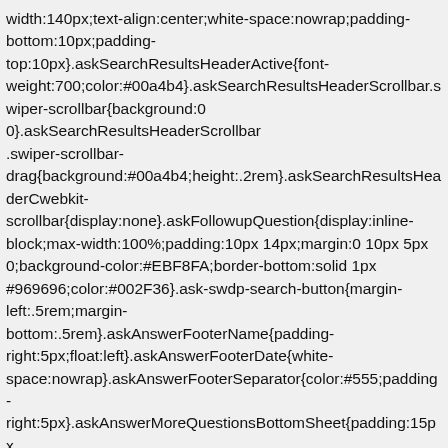width:140px;text-align:center;white-space:nowrap;padding-bottom:10px;padding-top:10px}.askSearchResultsHeaderActive{font-weight:700;color:#00a4b4}.askSearchResultsHeaderScrollbar.swiper-scrollbar{background:0 0}.askSearchResultsHeaderScrollbar .swiper-scrollbar-drag{background:#00a4b4;height:.2rem}.askSearchResultsHeaderC webkit-scrollbar{display:none}.askFollowupQuestion{display:inline-block;max-width:100%;padding:10px 14px;margin:0 10px 5px 0;background-color:#EBF8FA;border-bottom:solid 1px #969696;color:#002F36}.ask-swdp-search-button{margin-left:.5rem;margin-bottom:.5rem}.askAnswerFooterName{padding-right:5px;float:left}.askAnswerFooterDate{white-space:nowrap}.askAnswerFooterSeparator{color:#555;padding-right:5px}.askAnswerMoreQuestionsBottomSheet{padding:15px 10px 0 15px;position:relative}.askAnswerMoreQuestionsPostAnswerSpinne